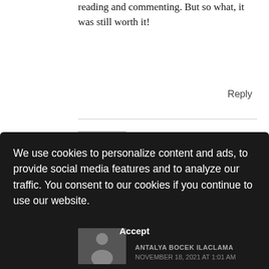reading and commenting. But so what, it was still worth it!
Reply
BUY ESSAY WRITING
NOVEMBER 15, 2021 AT 5:05 PM
[Figure (illustration): Generic user avatar placeholder — grey silhouette of a person on grey background]
Hello. Awesome! I'm really enjoy this. It will be great if you'll read my first article on AP!)
Reply
We use cookies to personalize content and ads, to provide social media features and to analyze our traffic. You consent to our cookies if you continue to use our website.
Accept
ANTALYA BOCEK ILACLAMA
NOVEMBER 18, 2021 AT 1:01 AM